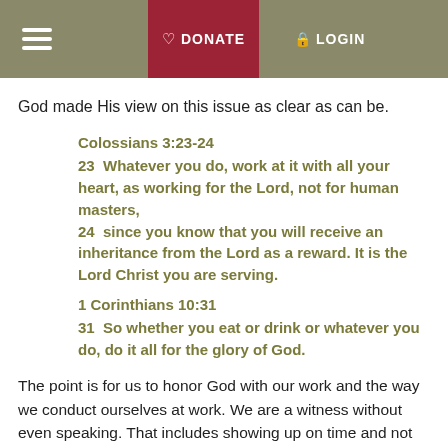☰ ♡ DONATE 🔒 LOGIN
God made His view on this issue as clear as can be.
Colossians 3:23-24
23  Whatever you do, work at it with all your heart, as working for the Lord, not for human masters,
24  since you know that you will receive an inheritance from the Lord as a reward. It is the Lord Christ you are serving.
1 Corinthians 10:31
31  So whether you eat or drink or whatever you do, do it all for the glory of God.
The point is for us to honor God with our work and the way we conduct ourselves at work. We are a witness without even speaking. That includes showing up on time and not leaving early.
However, the focus of life is not work. Work and the money